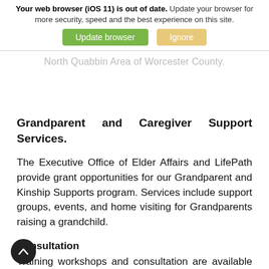Your web browser (iOS 11) is out of date. Update your browser for more security, speed and the best experience on this site.
North Quabbin Area of Worcester County.
Grandparent and Caregiver Support Services.
The Executive Office of Elder Affairs and LifePath provide grant opportunities for our Grandparent and Kinship Supports program. Services include support groups, events, and home visiting for Grandparents raising a grandchild.
Consultation
Training workshops and consultation are available upon request to other agencies or groups wishing to serve this population.